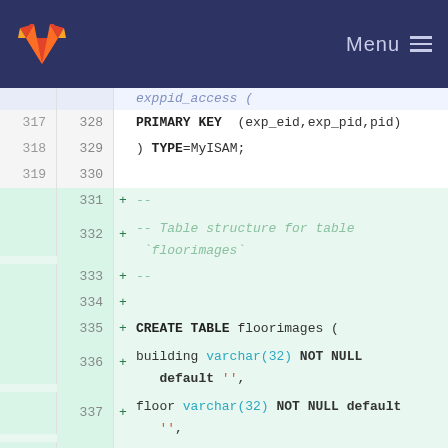Menu
[Figure (screenshot): GitLab code diff view showing SQL table creation code. Lines 317-319 show end of exppid_access table definition with PRIMARY KEY and TYPE=MyISAM. Lines 331-343 show added lines creating floorimages table with columns: building varchar(32) NOT NULL default '', floor varchar(32) NOT NULL default '', image_path tinytext, x1 int(6) NOT NULL default '0', y1 int(6) NOT NULL default '0', x2 int(6) NOT NULL default '0', y2 int(6) NOT NULL default '0', PRIMARY KEY (building, floor), TYPE=MyISAM.]